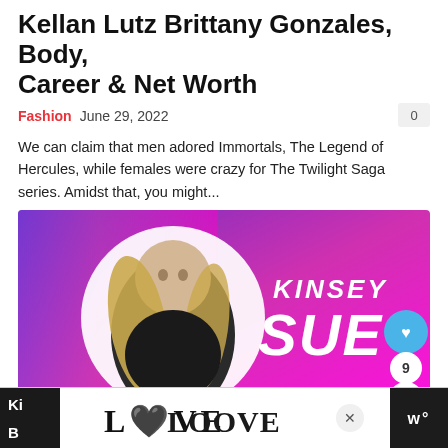Kellan Lutz Brittany Gonzales, Body, Career & Net Worth
Fashion   June 29, 2022
We can claim that men adored Immortals, The Legend of Hercules, while females were crazy for The Twilight Saga series. Amidst that, you might...
[Figure (photo): Promotional image for Kinsey Sue on modelfact.com, featuring a woman with long blonde hair in a black dress on a purple-to-magenta gradient background. Text reads KINSEY SUE in large white italic letters. MODELFACT.COM watermark at bottom right. Heart icon and number 9 and share button on the right side.]
[Figure (logo): LOOVE stylized logo in black and white ornate design on white advertisement bar at bottom of page. X close button to the right.]